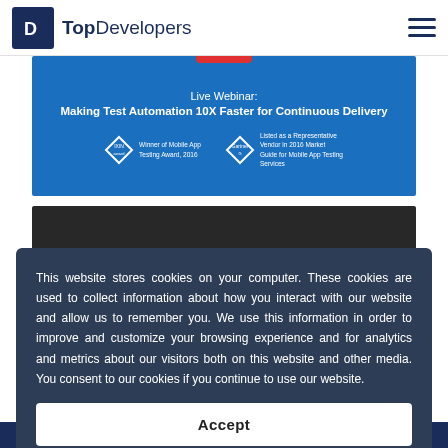TopDevelopers
[Figure (screenshot): Blue banner for a live webinar titled 'Making Test Automation 10X Faster for Continuous Delivery' with awards: Winner of Mobile App Testing Award 2016 and Listed as a Representative Vendor in 2016 Market Guide for Mobile App Testing Services (Gartner)]
[Figure (screenshot): Dark grey/black image strip partially visible behind cookie overlay]
This website stores cookies on your computer. These cookies are used to collect information about how you interact with our website and allow us to remember you. We use this information in order to improve and customize your browsing experience and for analytics and metrics about our visitors both on this website and other media. You consent to our cookies if you continue to use our website.
Accept
Key Insights